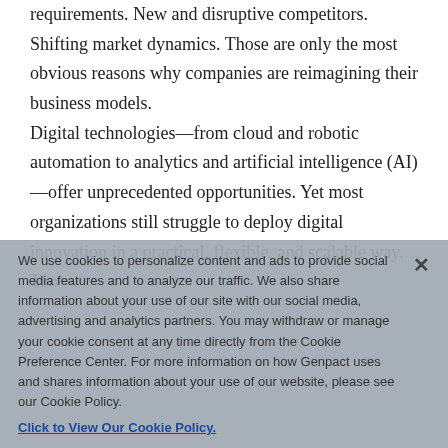requirements. New and disruptive competitors. Shifting market dynamics. Those are only the most obvious reasons why companies are reimagining their business models.
Digital technologies—from cloud and robotic automation to analytics and artificial intelligence (AI)—offer unprecedented opportunities. Yet most organizations still struggle to deploy digital innovation in a practical, flexible, and scalable way. Too
We use cookies to personalize content and ads to provide social media features and to analyze our traffic. We also share information about your use of our site with our social media, advertising and analytics partners. You may withdraw or manage your cookie consent at any time directly from the Cookie Preference Center. For more information on how Genpact uses and shares information about your use of our website, please see our Cookie Policy. Click to View Our Cookie Policy.